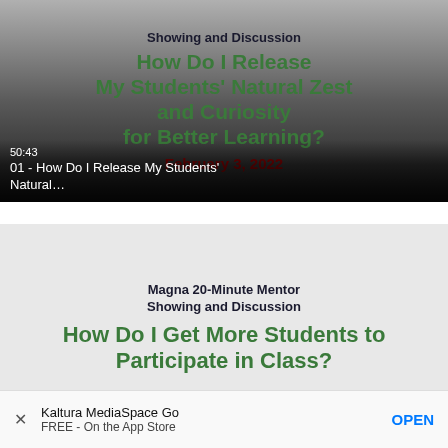[Figure (screenshot): Video thumbnail showing a presentation slide. Text reads: 'Showing and Discussion' in dark blue bold, then 'How Do I Release My Students' Natural Zest and Curiosity for Better Learning?' in green bold, and 'February 3, 2022' in dark red bold. Gradient background from light gray to dark. Overlaid at bottom: duration '50:43' and title '01 - How Do I Release My Students' Natural...']
[Figure (screenshot): Video thumbnail showing a presentation slide on light gray background. Text reads: 'Magna 20-Minute Mentor Showing and Discussion' in dark blue bold, then 'How Do I Get More Students to Participate in Class?' in green bold, partially visible.]
Kaltura MediaSpace Go
FREE - On the App Store
OPEN